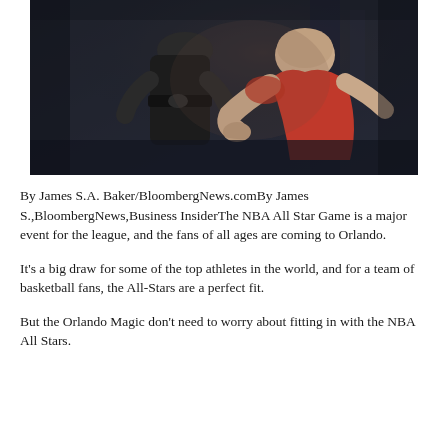[Figure (photo): Two athletes in a gym setting; one bald man in a red shirt leans forward over another person dressed in black, appearing to be engaged in a strength or wrestling exercise. Dark, moody lighting.]
By James S.A. Baker/BloombergNews.comBy James S.,BloombergNews,Business InsiderThe NBA All Star Game is a major event for the league, and the fans of all ages are coming to Orlando.
It's a big draw for some of the top athletes in the world, and for a team of basketball fans, the All-Stars are a perfect fit.
But the Orlando Magic don't need to worry about fitting in with the NBA All Stars.